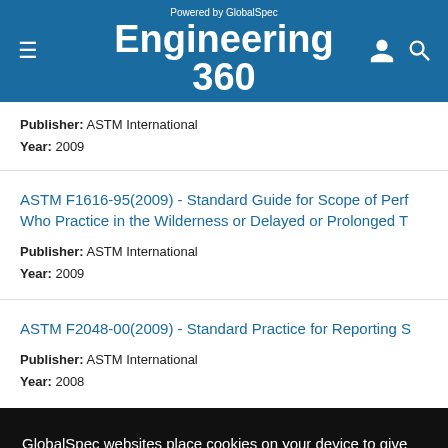Powered by GlobalSpec Engineering 360
Publisher: ASTM International
Year: 2009
ASTM F1616-95(2009) - Standard Guide for Scope of Perf Who Practice in the Wilderness or Delayed or Prolonged T
Publisher: ASTM International
Year: 2009
ASTM F2048-00(2009) - Standard Practice for Reporting S
Publisher: ASTM International
Year: 2008
GlobalSpec websites place cookies on your device to give you the best user experience. By using our websites, you agree to the placement of these cookies. To learn more, read our Privacy Policy
Accept & Close